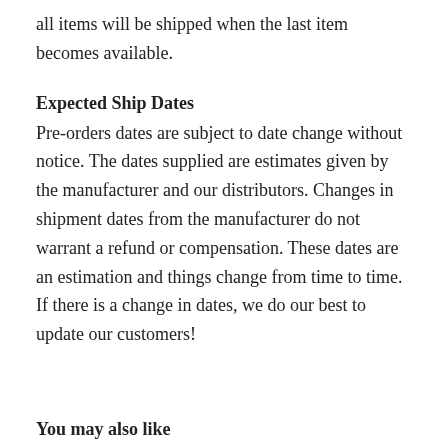all items will be shipped when the last item becomes available.
Expected Ship Dates
Pre-orders dates are subject to date change without notice. The dates supplied are estimates given by the manufacturer and our distributors. Changes in shipment dates from the manufacturer do not warrant a refund or compensation. These dates are an estimation and things change from time to time. If there is a change in dates, we do our best to update our customers!
You may also like